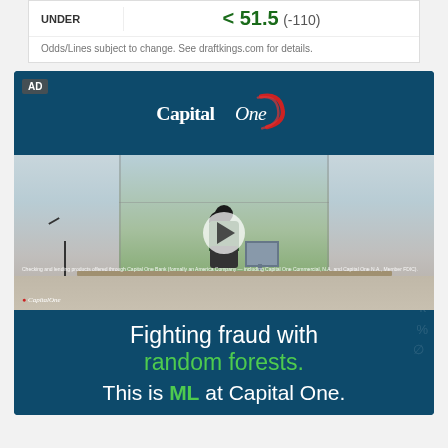UNDER
< 51.5 (-110)
Odds/Lines subject to change. See draftkings.com for details.
[Figure (photo): Capital One advertisement showing a person seated at a desk in an open office with large windows, a play button overlay on a video thumbnail, and text 'Fighting fraud with random forests. This is ML at Capital One.' The ad has a dark teal/navy background with the Capital One logo and an AD badge.]